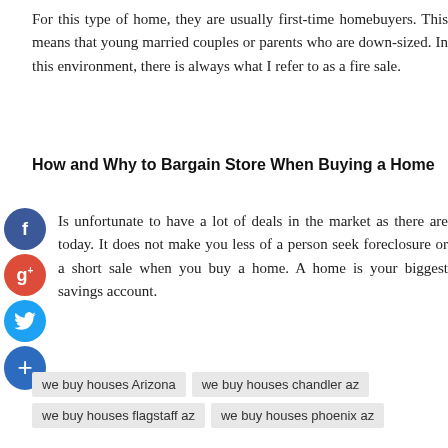For this type of home, they are usually first-time homebuyers. This means that young married couples or parents who are down-sized. In this environment, there is always what I refer to as a fire sale.
How and Why to Bargain Store When Buying a Home
Is unfortunate to have a lot of deals in the market as there are today. It does not make you less of a person seek foreclosure or a short sale when you buy a home. A home is your biggest savings account.
we buy houses Arizona
we buy houses chandler az
we buy houses flagstaff az
we buy houses phoenix az